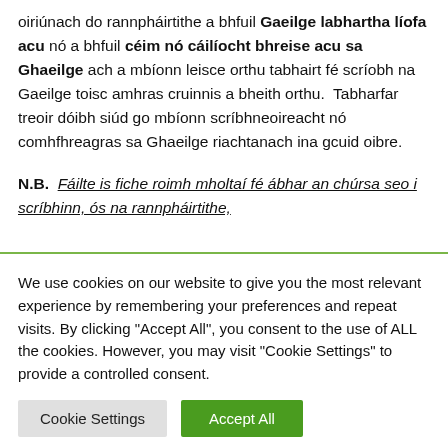oiriúnach do rannpháirtithe a bhfuil Gaeilge labhartha líofa acu nó a bhfuil céim nó cáilíocht bhreise acu sa Ghaeilge ach a mbíonn leisce orthu tabhairt fé scríobh na Gaeilge toisc amhras cruinnis a bheith orthu.  Tabharfar treoir dóibh siúd go mbíonn scríbhneoireacht nó comhfhreagras sa Ghaeilge riachtanach ina gcuid oibre.
N.B.  Fáilte is fiche roimh mholtaí fé ábhar an chúrsa seo i scríbhinn, ós na rannpháirtithe,
We use cookies on our website to give you the most relevant experience by remembering your preferences and repeat visits. By clicking "Accept All", you consent to the use of ALL the cookies. However, you may visit "Cookie Settings" to provide a controlled consent.